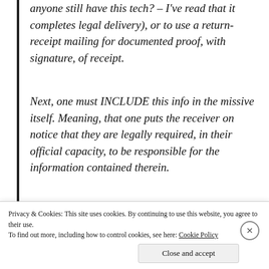anyone still have this tech? – I've read that it completes legal delivery), or to use a return-receipt mailing for documented proof, with signature, of receipt.
Next, one must INCLUDE this info in the missive itself. Meaning, that one puts the receiver on notice that they are legally required, in their official capacity, to be responsible for the information contained therein.
The same works for hand-to-hand delivery to school
Privacy & Cookies: This site uses cookies. By continuing to use this website, you agree to their use.
To find out more, including how to control cookies, see here: Cookie Policy